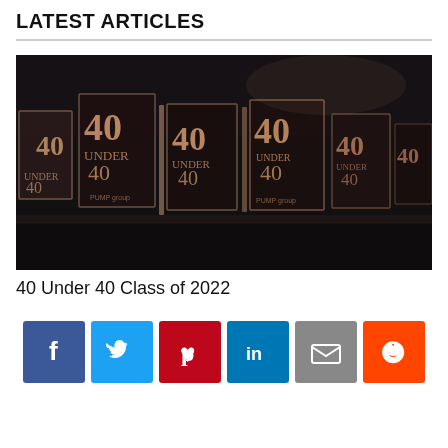LATEST ARTICLES
[Figure (photo): Multiple crystal/acrylic award trophies engraved with '40 Under 40' logos arranged in a row on a dark reflective surface]
40 Under 40 Class of 2022
[Figure (infographic): Social sharing buttons: Facebook (blue), Twitter (light blue), Pinterest (red), LinkedIn (blue), Email (gray), Reddit (orange)]